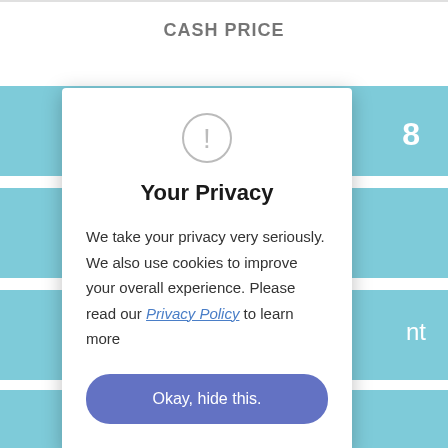CASH PRICE
[Figure (screenshot): Teal colored rows visible behind the privacy modal, with partial text visible. A 'Reserve Online' teal banner at the bottom.]
Your Privacy
We take your privacy very seriously. We also use cookies to improve your overall experience. Please read our Privacy Policy to learn more
Okay, hide this.
Reserve Online